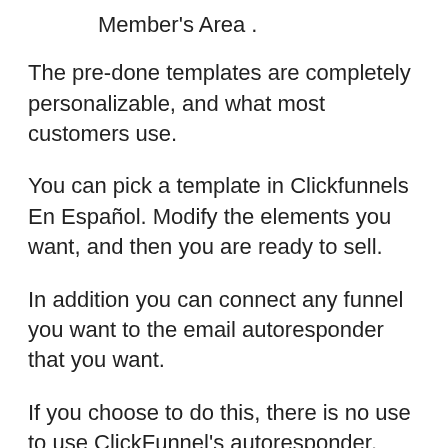Member’s Area .
The pre-done templates are completely personalizable, and what most customers use.
You can pick a template in Clickfunnels En Español. Modify the elements you want, and then you are ready to sell.
In addition you can connect any funnel you want to the email autoresponder that you want.
If you choose to do this, there is no use to use ClickFunnel’s autoresponder.
And you can use the Clickfunnels En Español built